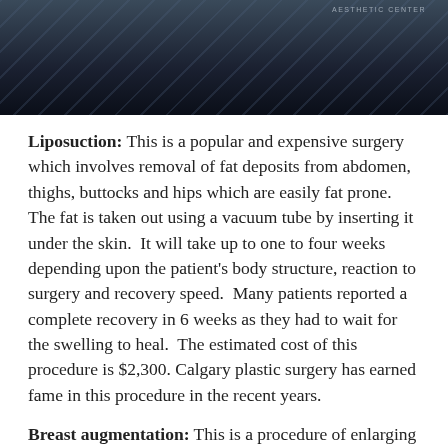[Figure (photo): Dark photo banner at top of page, likely showing a medical/aesthetic center scene, with text 'AESTHETIC CENTER' in upper right corner]
Liposuction: This is a popular and expensive surgery which involves removal of fat deposits from abdomen, thighs, buttocks and hips which are easily fat prone. The fat is taken out using a vacuum tube by inserting it under the skin.  It will take up to one to four weeks depending upon the patient's body structure, reaction to surgery and recovery speed.  Many patients reported a complete recovery in 6 weeks as they had to wait for the swelling to heal.  The estimated cost of this procedure is $2,300. Calgary plastic surgery has earned fame in this procedure in the recent years.
Breast augmentation: This is a procedure of enlarging woman's breasts with the help of silicone or saline implants in Calgary.  Nearly 3,00,000 women underwent this surgery in the year 2005 making it the most demanding cosmetic surgery among women.  Doctors